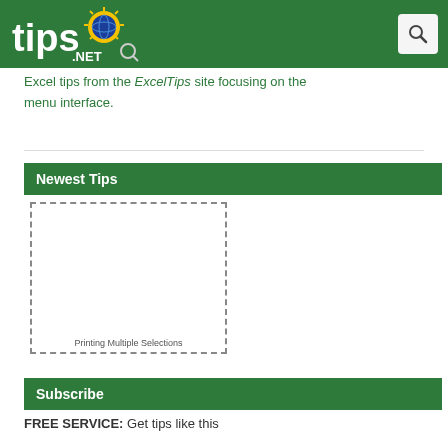tips.NET
Excel tips from the ExcelTips site focusing on the menu interface.
Newest Tips
[Figure (screenshot): Dashed border thumbnail image placeholder labeled 'Printing Multiple Selections']
Printing Multiple Selections
Subscribe
FREE SERVICE: Get tips like this